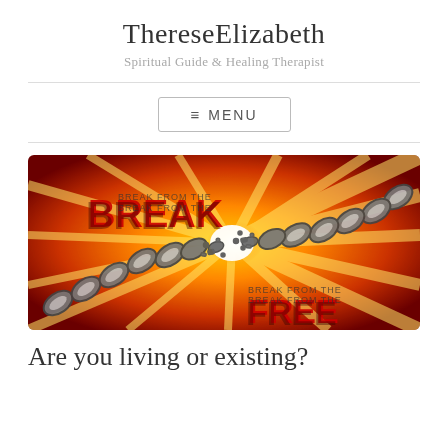ThereseElizabeth
Spiritual Guide & Healing Therapist
≡ MENU
[Figure (illustration): A dramatic image showing a heavy metal chain breaking apart in a burst of golden-orange light, with the word 'BREAK' in red and black on the left and 'FREE' in red and black on the lower right, set against a fiery orange background.]
Are you living or existing?